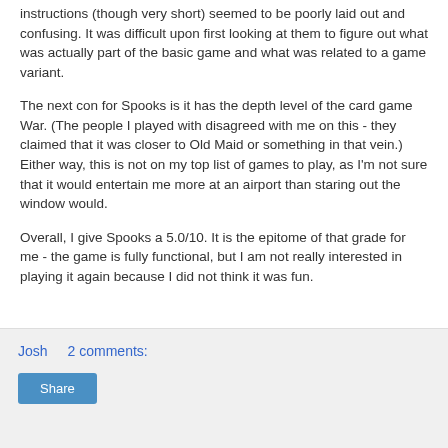instructions (though very short) seemed to be poorly laid out and confusing. It was difficult upon first looking at them to figure out what was actually part of the basic game and what was related to a game variant.
The next con for Spooks is it has the depth level of the card game War. (The people I played with disagreed with me on this - they claimed that it was closer to Old Maid or something in that vein.) Either way, this is not on my top list of games to play, as I'm not sure that it would entertain me more at an airport than staring out the window would.
Overall, I give Spooks a 5.0/10. It is the epitome of that grade for me - the game is fully functional, but I am not really interested in playing it again because I did not think it was fun.
Josh   2 comments:   Share